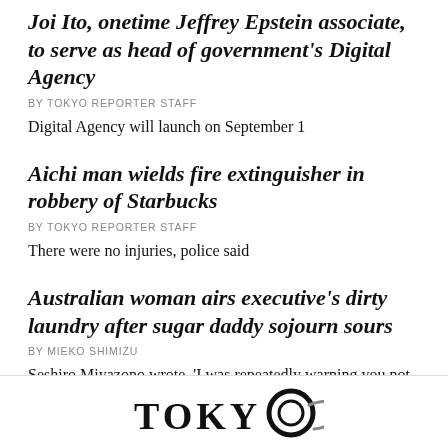Joi Ito, onetime Jeffrey Epstein associate, to serve as head of government's Digital Agency
BY TOKYO REPORTER STAFF
Digital Agency will launch on September 1
Aichi man wields fire extinguisher in robbery of Starbucks
BY TOKYO REPORTER STAFF
There were no injuries, police said
Australian woman airs executive's dirty laundry after sugar daddy sojourn sours
BY MIEKO SHIMIZU
Seshiro Miyazono wrote, ‘I was repeatedly warning you not to cheat’
[Figure (logo): Tokyo Reporter logo at the bottom of the page]